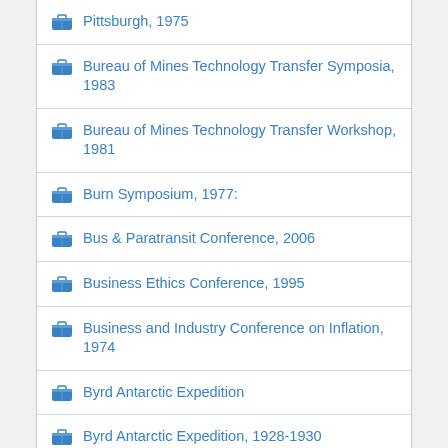Pittsburgh, 1975
Bureau of Mines Technology Transfer Symposia, 1983
Bureau of Mines Technology Transfer Workshop, 1981
Burn Symposium, 1977:
Bus & Paratransit Conference, 2006
Business Ethics Conference, 1995
Business and Industry Conference on Inflation, 1974
Byrd Antarctic Expedition
Byrd Antarctic Expedition, 1928-1930